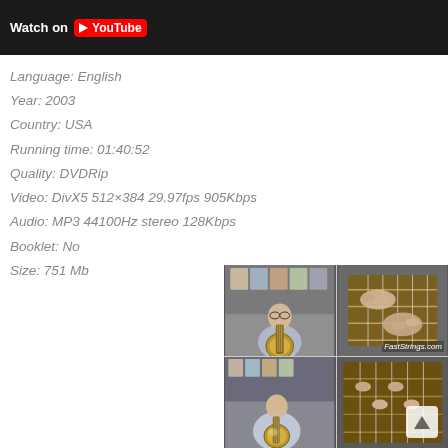[Figure (screenshot): YouTube 'Watch on YouTube' black bar with YouTube logo]
Language: English
Year: 2003
Country: USA
Running time: 01:40:52
Quality: DVDRip
Video: DivX5 512×384 29.97fps 905Kbps
Audio: MP3 44100Hz stereo 128Kbps
Booklet: No
Size: 751 Mb
[Figure (screenshot): Four-panel screenshot grid from a banjo instruction video (FastStrings.com). Top-left: man holding banjo, top-right: close-up of hands on banjo strings, bottom-left: man playing banjo, bottom-right: close-up of fingers on frets. Bottom-right panel has an up-arrow overlay icon.]